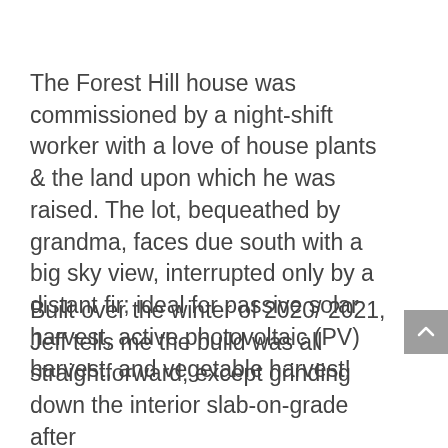The Forest Hill house was commissioned by a night-shift worker with a love of house plants & the land upon which he was raised. The lot, bequeathed by grandma, faces due south with a big sky view, interrupted only by a distant fir; ideal for passive solar harvest, active photovoltaic (PV) harvest, and vegetable harvest!
Built over the winter of 2020/ 2021, Jeff tells me the build was all straightforward, except grinding down the interior slab-on-grade after